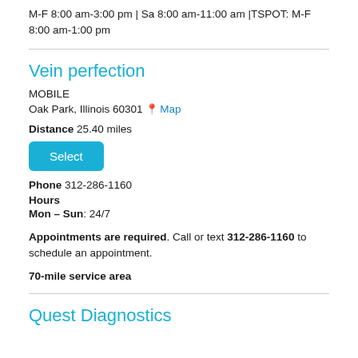M-F 8:00 am-3:00 pm | Sa 8:00 am-11:00 am |TSPOT: M-F 8:00 am-1:00 pm
Vein perfection
MOBILE
Oak Park, Illinois 60301 Map
Distance 25.40 miles
Select
Phone 312-286-1160
Hours
Mon – Sun: 24/7
Appointments are required. Call or text 312-286-1160 to schedule an appointment.
70-mile service area
Quest Diagnostics